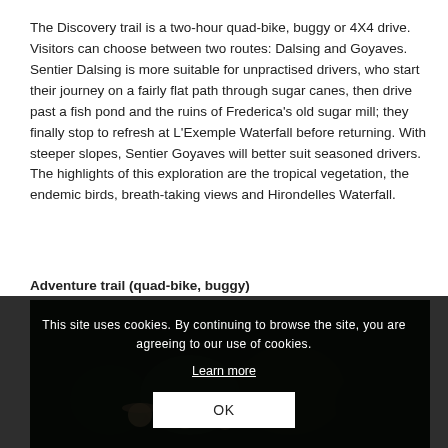The Discovery trail is a two-hour quad-bike, buggy or 4X4 drive. Visitors can choose between two routes: Dalsing and Goyaves. Sentier Dalsing is more suitable for unpractised drivers, who start their journey on a fairly flat path through sugar canes, then drive past a fish pond and the ruins of Frederica's old sugar mill; they finally stop to refresh at L'Exemple Waterfall before returning. With steeper slopes, Sentier Goyaves will better suit seasoned drivers. The highlights of this exploration are the tropical vegetation, the endemic birds, breath-taking views and Hirondelles Waterfall.
Adventure trail (quad-bike, buggy)
[Figure (photo): Darkened photo of a group of people with hats on a trail in tropical vegetation, partially obscured by cookie consent banner]
This site uses cookies. By continuing to browse the site, you are agreeing to our use of cookies.
Learn more
OK